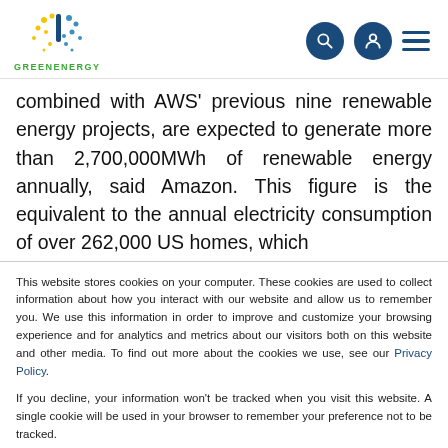GREENENERGY logo with navigation icons
combined with AWS’ previous nine renewable energy projects, are expected to generate more than 2,700,000MWh of renewable energy annually, said Amazon. This figure is the equivalent to the annual electricity consumption of over 262,000 US homes, which
This website stores cookies on your computer. These cookies are used to collect information about how you interact with our website and allow us to remember you. We use this information in order to improve and customize your browsing experience and for analytics and metrics about our visitors both on this website and other media. To find out more about the cookies we use, see our Privacy Policy.
If you decline, your information won’t be tracked when you visit this website. A single cookie will be used in your browser to remember your preference not to be tracked.
Accept | Decline